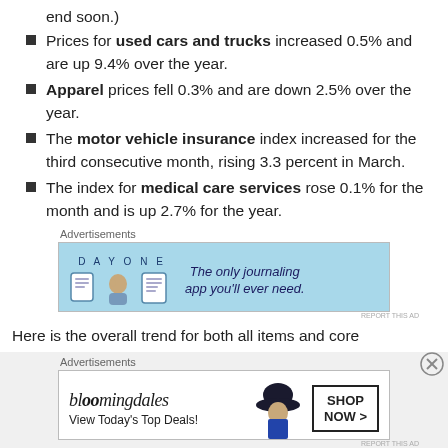end soon.)
Prices for used cars and trucks increased 0.5% and are up 9.4% over the year.
Apparel prices fell 0.3% and are down 2.5% over the year.
The motor vehicle insurance index increased for the third consecutive month, rising 3.3 percent in March.
The index for medical care services rose 0.1% for the month and is up 2.7% for the year.
[Figure (illustration): DayOne journaling app advertisement: blue background with app icons and text 'The only journaling app you'll ever need.']
Here is the overall trend for both all items and core
[Figure (illustration): Bloomingdales advertisement: logo, 'View Today's Top Deals!', woman with hat, SHOP NOW button]